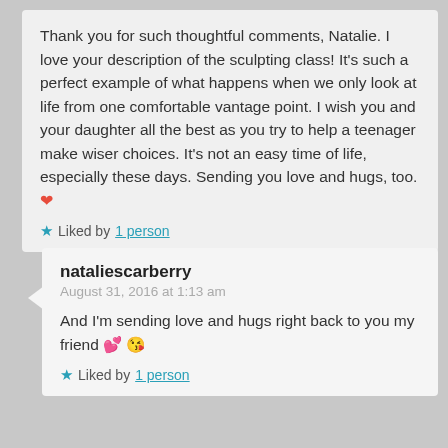Thank you for such thoughtful comments, Natalie. I love your description of the sculpting class! It's such a perfect example of what happens when we only look at life from one comfortable vantage point. I wish you and your daughter all the best as you try to help a teenager make wiser choices. It's not an easy time of life, especially these days. Sending you love and hugs, too. ❤️
★ Liked by 1 person
nataliescarberry
August 31, 2016 at 1:13 am
And I'm sending love and hugs right back to you my friend 💕 😘
★ Liked by 1 person